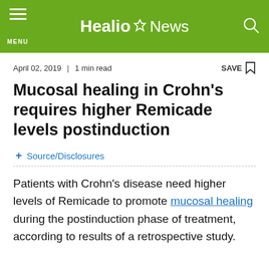Healio News
April 02, 2019 | 1 min read
Mucosal healing in Crohn's requires higher Remicade levels postinduction
+ Source/Disclosures
Patients with Crohn's disease need higher levels of Remicade to promote mucosal healing during the postinduction phase of treatment, according to results of a retrospective study.